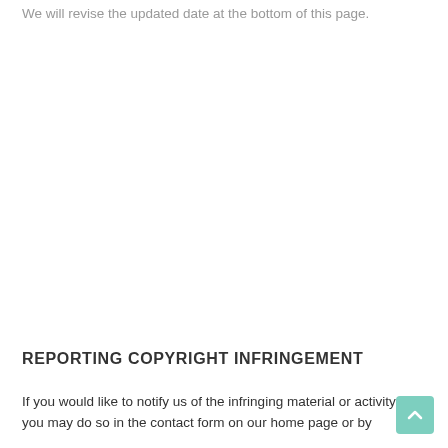We will revise the updated date at the bottom of this page.
REPORTING COPYRIGHT INFRINGEMENT
If you would like to notify us of the infringing material or activity, you may do so in the contact form on our home page or by